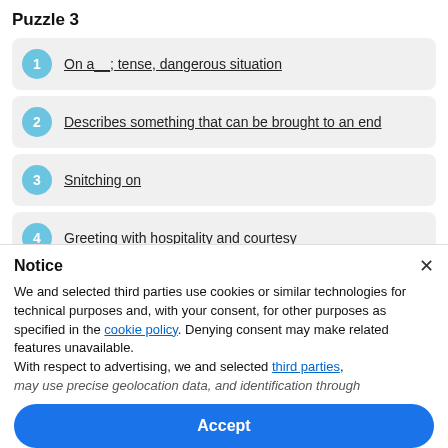Puzzle 3
1 On a__; tense, dangerous situation
2 Describes something that can be brought to an end
3 Snitching on
4 Greeting with hospitality and courtesy
5 La__, cannes' tree-lined boulevard
6 Stiffened ribbon used as hatbands
Notice
We and selected third parties use cookies or similar technologies for technical purposes and, with your consent, for other purposes as specified in the cookie policy. Denying consent may make related features unavailable.
With respect to advertising, we and selected third parties,
may use precise geolocation data, and identification through
Accept